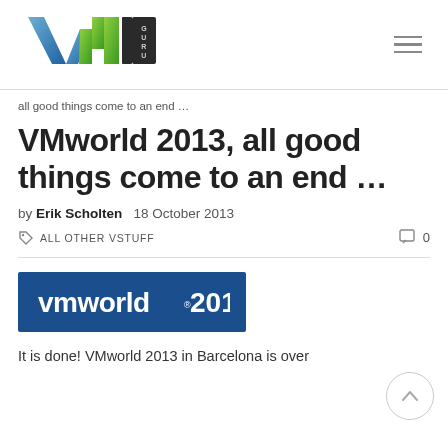[Figure (logo): VM1 Guru website logo — stylized VM letters with blue/green gradient and 'GURU' text in 3D effect]
all good things come to an end …
VMworld 2013, all good things come to an end …
by Erik Scholten   18 October 2013
ALL OTHER VSTUFF   0
[Figure (logo): VMworld 2013 logo — white text on dark blue rectangular banner]
It is done! VMworld 2013 in Barcelona is over